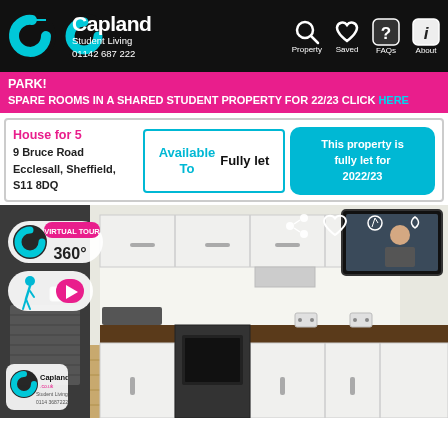[Figure (logo): Capland Student Living logo with teal C graphic, white text, phone number 01142 687 222, and navigation icons for Property, Saved, FAQs, About]
PARK!
SPARE ROOMS IN A SHARED STUDENT PROPERTY FOR 22/23 CLICK HERE
House for 5
9 Bruce Road
Ecclesall, Sheffield,
S11 8DQ
Available To  Fully let
This property is fully let for 2022/23
[Figure (photo): Photo of a modern student kitchen with white cabinets, dark wood worktop, oven, and laminate flooring. Virtual tour 360° badge and video badge on left. Share and heart icons top right. TV mounted on wall. Capland logo bottom left.]